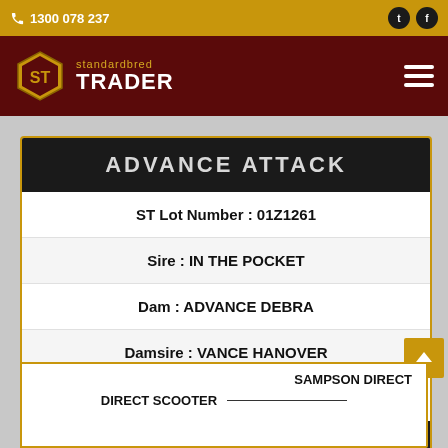📞 1300 078 237
[Figure (logo): Standardbred Trader logo with hexagonal ST emblem and brand name]
ADVANCE ATTACK
| ST Lot Number : 01Z1261 |
| Sire : IN THE POCKET |
| Dam : ADVANCE DEBRA |
| Damsire : VANCE HANOVER |
| Price : $ 2,500 |
Views : 376
SAMPSON DIRECT
DIRECT SCOOTER